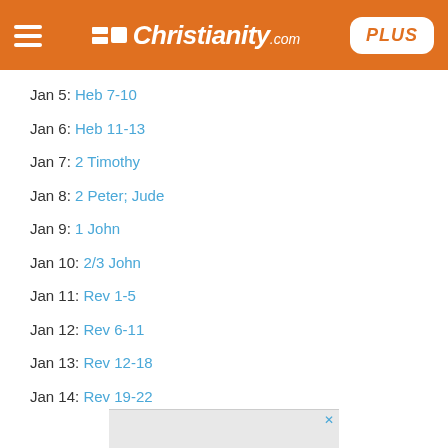Christianity.com PLUS
Jan 5: Heb 7-10
Jan 6: Heb 11-13
Jan 7: 2 Timothy
Jan 8: 2 Peter; Jude
Jan 9: 1 John
Jan 10: 2/3 John
Jan 11: Rev 1-5
Jan 12: Rev 6-11
Jan 13: Rev 12-18
Jan 14: Rev 19-22
[Figure (other): Advertisement banner with close X button at bottom of page]